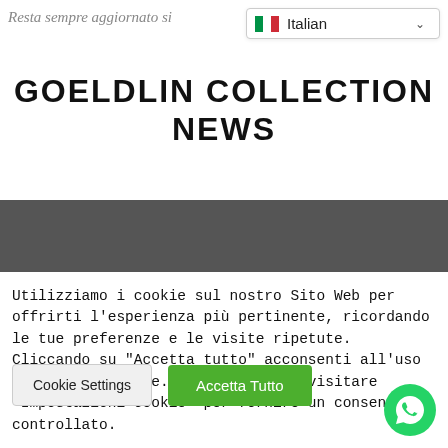Resta sempre aggiornato si
[Figure (screenshot): Language selector dropdown showing Italian flag and text 'Italian' with a chevron]
GOELDLIN COLLECTION NEWS
[Figure (other): Dark gray horizontal band across the page]
Utilizziamo i cookie sul nostro Sito Web per offrirti l'esperienza più pertinente, ricordando le tue preferenze e le visite ripetute. Cliccando su "Accetta tutto" acconsenti all'uso di TUTTI i cookie. Tuttavia, puoi visitare "Impostazioni cookie" per fornire un consenso controllato.
Cookie Settings
Accetta Tutto
[Figure (other): WhatsApp green circular button icon]